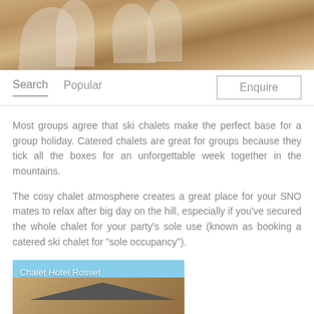[Figure (photo): Top banner photo showing wine glasses with warm brown/amber tones]
Search   Popular   Enquire
Most groups agree that ski chalets make the perfect base for a group holiday. Catered chalets are great for groups because they tick all the boxes for an unforgettable week together in the mountains.
The cosy chalet atmosphere creates a great place for your SNO mates to relax after big day on the hill, especially if you've secured the whole chalet for your party's sole use (known as booking a catered ski chalet for "sole occupancy").
[Figure (photo): Photo of Chalet Hotel Rosset in Tignes, a large wooden alpine chalet hotel with snow-covered mountains in the background]